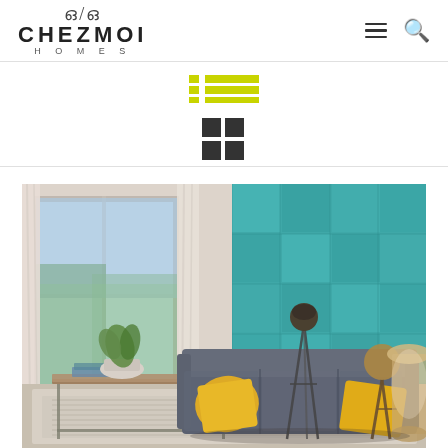CHEZMOI HOMES
[Figure (other): List view toggle icon (yellow/active state) in toolbar]
[Figure (other): Grid view toggle icon (2x2 dark squares) in toolbar]
[Figure (photo): Interior room photo showing a modern living room with a grey sofa with yellow cushions, teal/turquoise patchwork accent wall, large windows with white curtains, a geometric coffee table, indoor plant, and floor lamp with tripod stand]